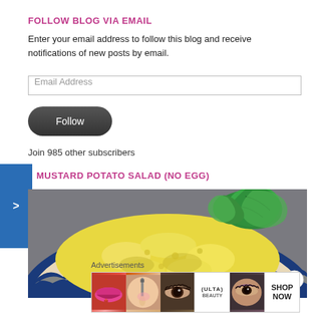FOLLOW BLOG VIA EMAIL
Enter your email address to follow this blog and receive notifications of new posts by email.
Email Address
Follow
Join 985 other subscribers
MUSTARD POTATO SALAD (NO EGG)
[Figure (photo): A bowl of yellow mustard potato salad garnished with fresh green parsley, served in a blue and white patterned bowl.]
Advertisements
[Figure (screenshot): ULTA beauty advertisement banner showing makeup products and eyes with text SHOP NOW]